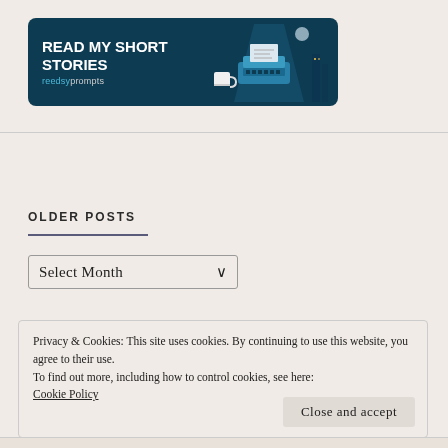[Figure (illustration): Reedsy Prompts banner with dark teal background showing 'READ MY SHORT STORIES' text in bold white and a typewriter illustration with coffee cup]
OLDER POSTS
[Figure (screenshot): Select Month dropdown widget]
Privacy & Cookies: This site uses cookies. By continuing to use this website, you agree to their use.
To find out more, including how to control cookies, see here:
Cookie Policy
Close and accept